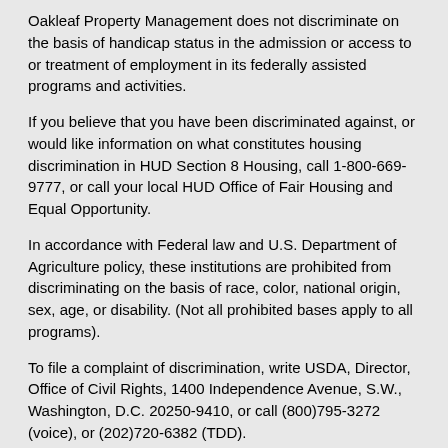Oakleaf Property Management does not discriminate on the basis of handicap status in the admission or access to or treatment of employment in its federally assisted programs and activities.
If you believe that you have been discriminated against, or would like information on what constitutes housing discrimination in HUD Section 8 Housing, call 1-800-669-9777, or call your local HUD Office of Fair Housing and Equal Opportunity.
In accordance with Federal law and U.S. Department of Agriculture policy, these institutions are prohibited from discriminating on the basis of race, color, national origin, sex, age, or disability. (Not all prohibited bases apply to all programs).
To file a complaint of discrimination, write USDA, Director, Office of Civil Rights, 1400 Independence Avenue, S.W., Washington, D.C. 20250-9410, or call (800)795-3272 (voice), or (202)720-6382 (TDD).
Management Statement
Oakleaf Real Estate Management Company (also known as Oakleaf Property Management) is a Rural Community...